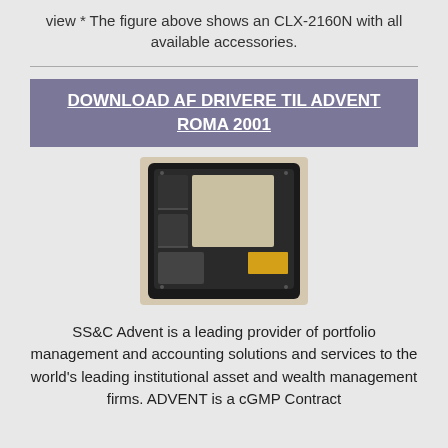view * The figure above shows an CLX-2160N with all available accessories.
DOWNLOAD AF DRIVERE TIL ADVENT ROMA 2001
[Figure (photo): Bottom view of a laptop/notebook computer showing the underside with battery compartment and hardware components]
SS&C Advent is a leading provider of portfolio management and accounting solutions and services to the world's leading institutional asset and wealth management firms. ADVENT is a cGMP Contract